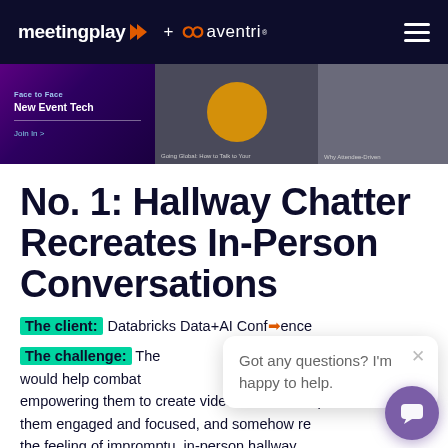meetingplay + aventri
[Figure (screenshot): Banner with three panels: purple gradient panel with 'Face to Face New Event Tech Join In >', a middle panel with a person in a yellow shirt, and a right panel with a person at a desk]
No. 1: Hallway Chatter Recreates In-Person Conversations
The client: Databricks Data+AI Conference
The challenge: They would help combat empowering them to create video content, keep them engaged and focused, and somehow recreate the feeling of impromptu, in-person hallway conversations that are missing in a typical virtual